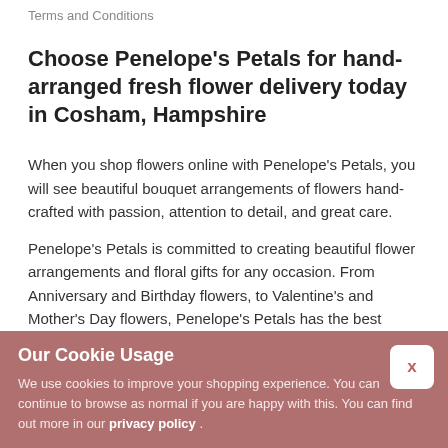Terms and Conditions
Choose Penelope's Petals for hand-arranged fresh flower delivery today in Cosham, Hampshire
When you shop flowers online with Penelope's Petals, you will see beautiful bouquet arrangements of flowers hand-crafted with passion, attention to detail, and great care.
Penelope's Petals is committed to creating beautiful flower arrangements and floral gifts for any occasion. From Anniversary and Birthday flowers, to Valentine's and Mother's Day flowers, Penelope's Petals has the best selection of floral designs for every unique occasion.
Our Cookie Usage
We use cookies to improve your shopping experience. You can continue to browse as normal if you are happy with this. You can find out more in our privacy policy .